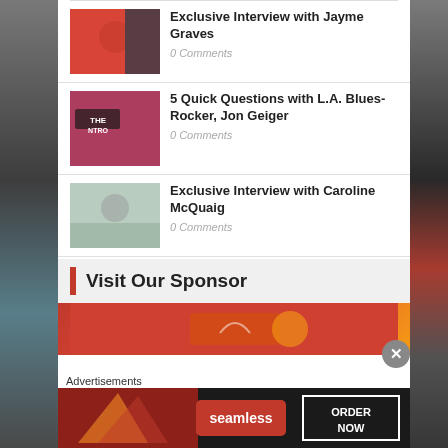Exclusive Interview with Jayme Graves
0 Comments
5 Quick Questions with L.A. Blues-Rocker, Jon Geiger
0 Comments
Exclusive Interview with Caroline McQuaig
0 Comments
Visit Our Sponsor
[Figure (photo): Red-themed sponsor banner image]
Advertisements
[Figure (photo): Seamless food delivery advertisement banner with pizza and ORDER NOW button]